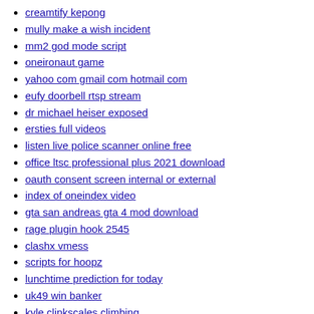creamtify kepong
mully make a wish incident
mm2 god mode script
oneironaut game
yahoo com gmail com hotmail com
eufy doorbell rtsp stream
dr michael heiser exposed
ersties full videos
listen live police scanner online free
office ltsc professional plus 2021 download
oauth consent screen internal or external
index of oneindex video
gta san andreas gta 4 mod download
rage plugin hook 2545
clashx vmess
scripts for hoopz
lunchtime prediction for today
uk49 win banker
kyle clinkscales climbing
paxlovid bad taste in mouth reddit
1 yahoo com hotmail com gmail com aol com txt 2020
porn castration magazine
conan exiles eewa quest guide
slasher x male reader
free5gc smf